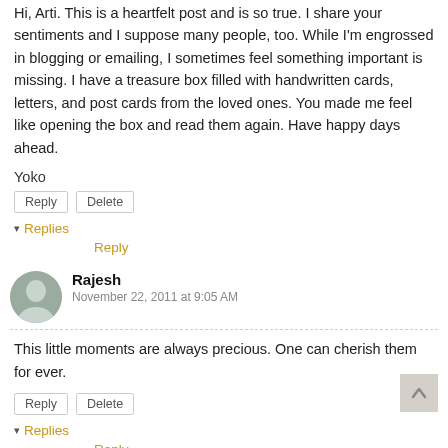Hi, Arti. This is a heartfelt post and is so true. I share your sentiments and I suppose many people, too. While I'm engrossed in blogging or emailing, I sometimes feel something important is missing. I have a treasure box filled with handwritten cards, letters, and post cards from the loved ones. You made me feel like opening the box and read them again. Have happy days ahead.
Yoko
Reply | Delete
▾ Replies
Reply
Rajesh
November 22, 2011 at 9:05 AM
This little moments are always precious. One can cherish them for ever.
Reply | Delete
▾ Replies
Reply
Ms. Becky
November 22, 2011 at 9:06 AM
you know Arti, what I love about your posts is they make me